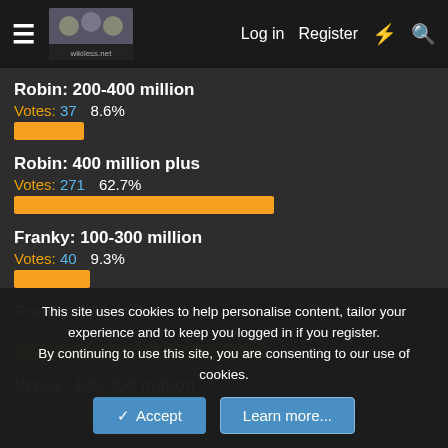Log in  Register
Robin: 200-400 million
Votes: 37   8.6%
[Figure (bar-chart): Robin: 200-400 million]
Robin: 400 million plus
Votes: 271   62.7%
[Figure (bar-chart): Robin: 400 million plus]
Franky: 100-300 million
Votes: 40   9.3%
[Figure (bar-chart): Franky: 100-300 million]
Franky: 300 million plus
Votes: 264   61.1%
[Figure (bar-chart): Franky: 300 million plus]
Brook: 100-300 million
Votes: 141   32.3%
This site uses cookies to help personalise content, tailor your experience and to keep you logged in if you register.
By continuing to use this site, you are consenting to our use of cookies.
Accept   Learn more...